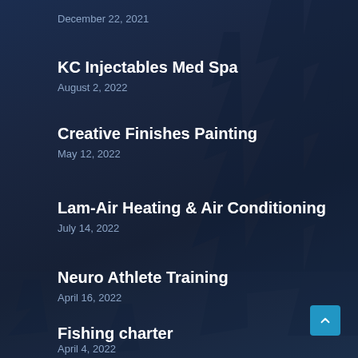December 22, 2021
KC Injectables Med Spa
August 2, 2022
Creative Finishes Painting
May 12, 2022
Lam-Air Heating & Air Conditioning
July 14, 2022
Neuro Athlete Training
April 16, 2022
Fishing charter
April 4, 2022